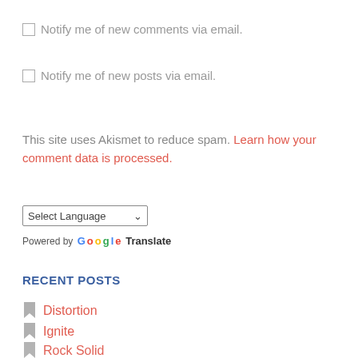Notify me of new comments via email.
Notify me of new posts via email.
This site uses Akismet to reduce spam. Learn how your comment data is processed.
Select Language (dropdown)
Powered by Google Translate
RECENT POSTS
Distortion
Ignite
Rock Solid
Cloud Shapes